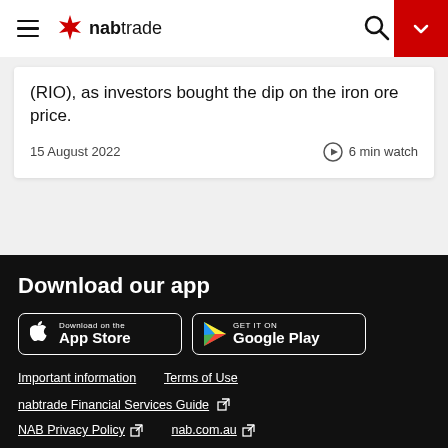nabtrade
(RIO), as investors bought the dip on the iron ore price.
15 August 2022   6 min watch
Download our app
[Figure (logo): Download on the App Store badge]
[Figure (logo): Get it on Google Play badge]
Important information
Terms of Use
nabtrade Financial Services Guide
NAB Privacy Policy
nab.com.au